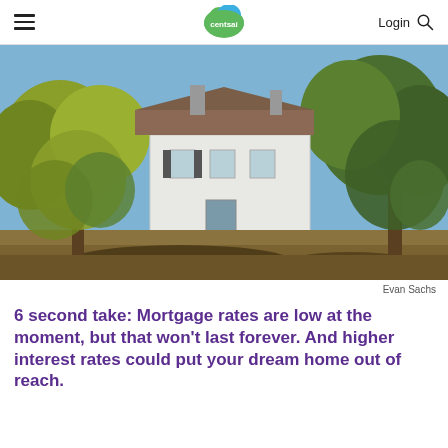centsai | Login
[Figure (photo): Exterior photo of a white historic house surrounded by trees with dry grass in the foreground, taken on a sunny autumn day.]
Evan Sachs
6 second take: Mortgage rates are low at the moment, but that won't last forever. And higher interest rates could put your dream home out of reach.